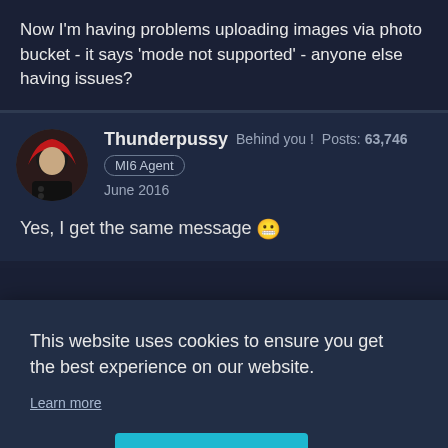Now I'm having problems uploading images via photo bucket - it says 'mode not supported' - anyone else having issues?
Thunderpussy   Behind you!   Posts: 63,746
MI6 Agent
June 2016
Yes, I get the same message 😬
This website uses cookies to ensure you get the best experience on our website.
Learn more
Decline
Allow cookies